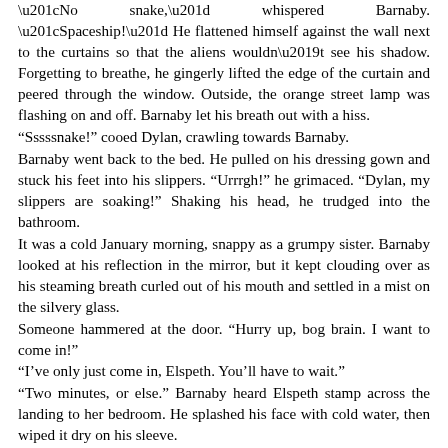“No snake,” whispered Barnaby. “Spaceship!” He flattened himself against the wall next to the curtains so that the aliens wouldn’t see his shadow. Forgetting to breathe, he gingerly lifted the edge of the curtain and peered through the window. Outside, the orange street lamp was flashing on and off. Barnaby let his breath out with a hiss.
“Sssssnake!” cooed Dylan, crawling towards Barnaby.
Barnaby went back to the bed. He pulled on his dressing gown and stuck his feet into his slippers. “Urrrgh!” he grimaced. “Dylan, my slippers are soaking!” Shaking his head, he trudged into the bathroom.
It was a cold January morning, snappy as a grumpy sister. Barnaby looked at his reflection in the mirror, but it kept clouding over as his steaming breath curled out of his mouth and settled in a mist on the silvery glass.
Someone hammered at the door. “Hurry up, bog brain. I want to come in!”
“I’ve only just come in, Elspeth. You’ll have to wait.”
“Two minutes, or else.” Barnaby heard Elspeth stamp across the landing to her bedroom. He splashed his face with cold water, then wiped it dry on his sleeve.
“Done!” he yelled, trotting back into his bedroom. He stopped dead. A strange clanking noise was coming from beneath the window. The aliens had come for him after all! Barnaby felt his heart leap again. He dropped to his knees and crawled towards the